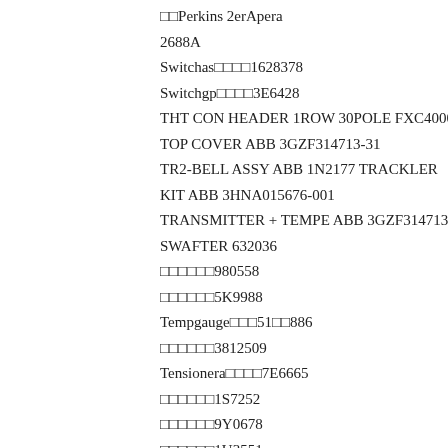□□Perkins 2erApera
2688A
Switchas□□□□1628378
Switchgp□□□□3E6428
THT CON HEADER 1ROW 30POLE FXC4000 ABB D677A329
TOP COVER ABB 3GZF314713-31
TR2-BELL ASSY ABB 1N2177 TRACKLER
KIT ABB 3HNA015676-001
TRANSMITTER + TEMPE ABB 3GZF314713-62T
SWAFTER 632036
□□□□□□980558
□□□□□□5K9988
Tempgauge□□□51□□886
□□□□□□3812509
Tensionera□□□□7E6665
□□□□□□1S7252
□□□□□□9Y0678
□□□□□□1U3551
□□□□□□□□12583020